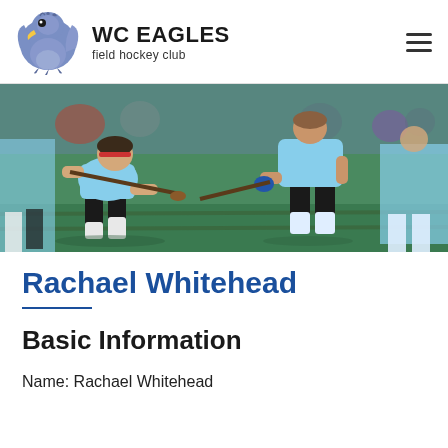WC EAGLES field hockey club
[Figure (photo): Field hockey players in light blue and black uniforms competing on a green turf field, one player leaning forward with a stick]
Rachael Whitehead
Basic Information
Name: Rachael Whitehead